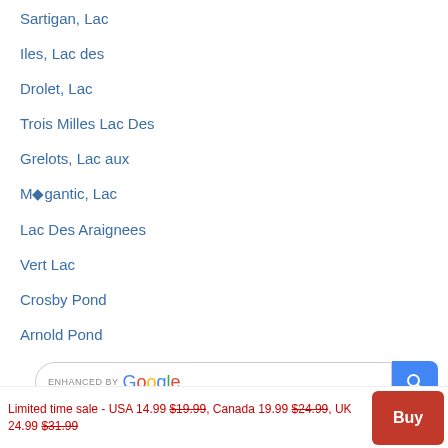Sartigan, Lac
Iles, Lac des
Drolet, Lac
Trois Milles Lac Des
Grelots, Lac aux
M◆gantic, Lac
Lac Des Araignees
Vert Lac
Crosby Pond
Arnold Pond
[Figure (screenshot): Search bar enhanced by Google with blue search button]
Limited time sale - USA 14.99 $19.99, Canada 19.99 $24.99, UK 24.99 $31.99